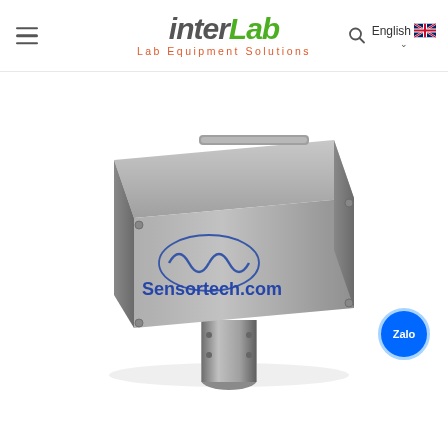interLab - Lab Equipment Solutions | English
[Figure (photo): A Sensortech.com industrial sensor/analyzer device mounted on a pole. The unit is a rectangular metal enclosure in gray/silver textured finish with the Sensortech.com logo and a wave-symbol printed in blue on the side. The device is mounted on a cylindrical metal post at the bottom.]